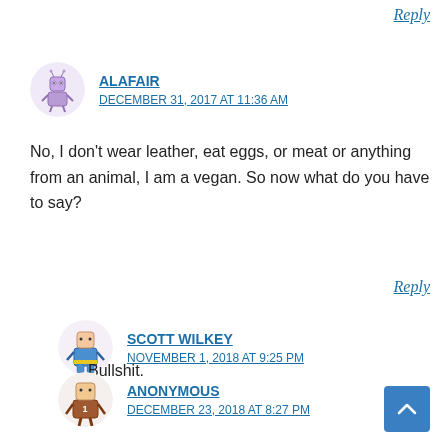Reply
ALAFAIR
DECEMBER 31, 2017 AT 11:36 AM
No, I don't wear leather, eat eggs, or meat or anything from an animal, I am a vegan. So now what do you have to say?
Reply
SCOTT WILKEY
NOVEMBER 1, 2018 AT 9:25 PM
Bullshit.
ANONYMOUS
DECEMBER 23, 2018 AT 8:27 PM